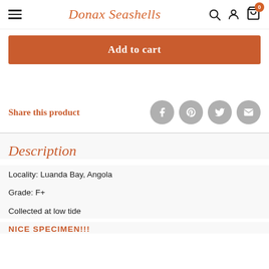Donax Seashells
Add to cart
Share this product
Description
Locality: Luanda Bay, Angola
Grade: F+
Collected at low tide
NICE SPECIMEN!!!